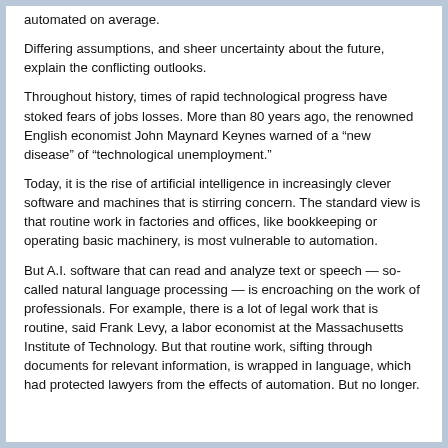automated on average.
Differing assumptions, and sheer uncertainty about the future, explain the conflicting outlooks.
Throughout history, times of rapid technological progress have stoked fears of jobs losses. More than 80 years ago, the renowned English economist John Maynard Keynes warned of a “new disease” of “technological unemployment.”
Today, it is the rise of artificial intelligence in increasingly clever software and machines that is stirring concern. The standard view is that routine work in factories and offices, like bookkeeping or operating basic machinery, is most vulnerable to automation.
But A.I. software that can read and analyze text or speech — so-called natural language processing — is encroaching on the work of professionals. For example, there is a lot of legal work that is routine, said Frank Levy, a labor economist at the Massachusetts Institute of Technology. But that routine work, sifting through documents for relevant information, is wrapped in language, which had protected lawyers from the effects of automation. But no longer.